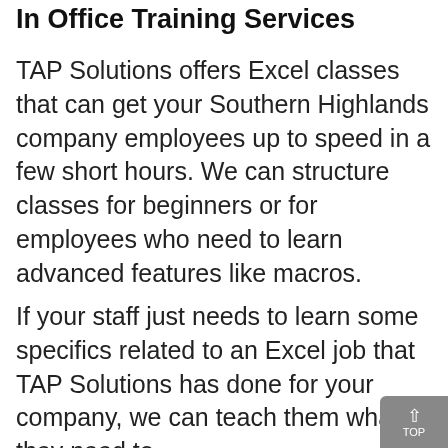In Office Training Services
TAP Solutions offers Excel classes that can get your Southern Highlands company employees up to speed in a few short hours. We can structure classes for beginners or for employees who need to learn advanced features like macros.
If your staff just needs to learn some specifics related to an Excel job that TAP Solutions has done for your company, we can teach them what they need to know at your office so that they can